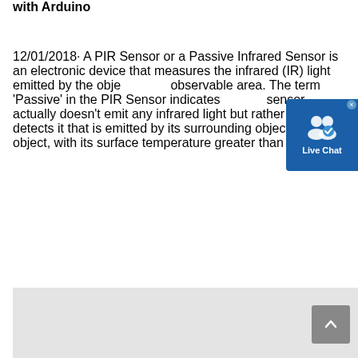with Arduino
12/01/2018· A PIR Sensor or a Passive Infrared Sensor is an electronic device that measures the infrared (IR) light emitted by the objects in its observable area. The term 'Passive' in the PIR Sensor indicates that the sensor actually doesn't emit any infrared light but rather passively detects it that is emitted by its surrounding objects. Every object, with its surface temperature greater than ...
[Figure (screenshot): Live Chat widget button overlay in top right corner]
GET PRICE
CHAT WITH WHATSAPP
[Figure (other): Gray content area at the bottom of the page]
[Figure (other): Scroll to top button in gray, bottom right]